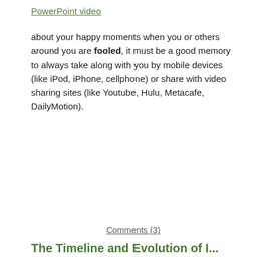PowerPoint video
about your happy moments when you or others around you are fooled, it must be a good memory to always take along with you by mobile devices (like iPod, iPhone, cellphone) or share with video sharing sites (like Youtube, Hulu, Metacafe, DailyMotion).
Comments (3)
The Timeline and Evolution of I...